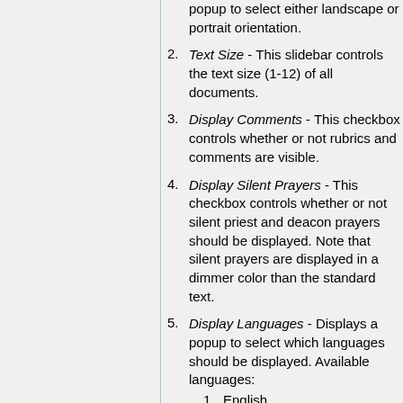Text Size - This slidebar controls the text size (1-12) of all documents.
Display Comments - This checkbox controls whether or not rubrics and comments are visible.
Display Silent Prayers - This checkbox controls whether or not silent priest and deacon prayers should be displayed. Note that silent prayers are displayed in a dimmer color than the standard text.
Display Languages - Displays a popup to select which languages should be displayed. Available languages:
English